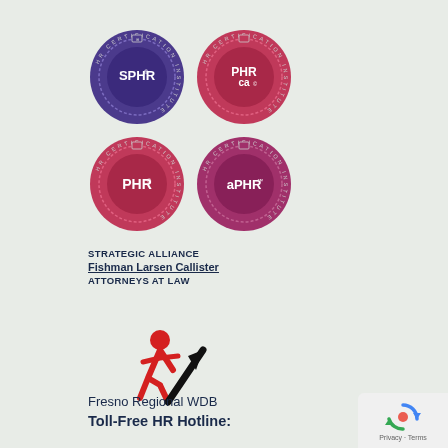[Figure (logo): HR Certification Institute badge grid: SPHR (purple/blue), PHRca (red/pink), PHR (red/pink), aPHR (red/pink) — four circular certification badges arranged in 2x2 grid]
STRATEGIC ALLIANCE
Fishman Larsen Callister
ATTORNEYS AT LAW
[Figure (logo): Fresno Regional WDB logo: red running figure with black upward arrow]
Fresno Regional WDB
Toll-Free HR Hotline:
[Figure (logo): Google reCAPTCHA privacy badge with recycle/loop icon, Privacy - Terms text]